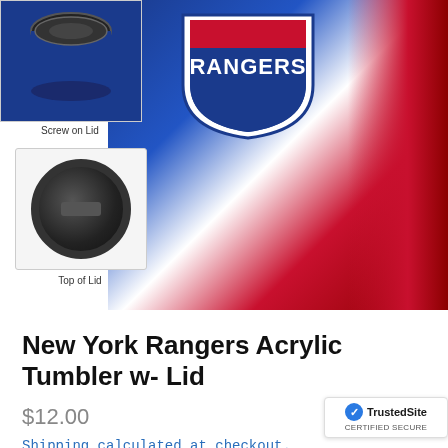[Figure (photo): Product photo of New York Rangers Acrylic Tumbler with lid. Main image shows the tumbler with Rangers logo (blue shield with 'RANGERS' text). Left side shows two thumbnails: top thumbnail labeled 'Screw on Lid' showing the lid piece, bottom thumbnail labeled 'Top of Lid' showing the circular lid top view.]
New York Rangers Acrylic Tumbler w- Lid
$12.00
Shipping calculated at checkout.
Pet owners need a treat for themselves too! This 16 oz acrylic tumbler by Hunter Mfg is officially li